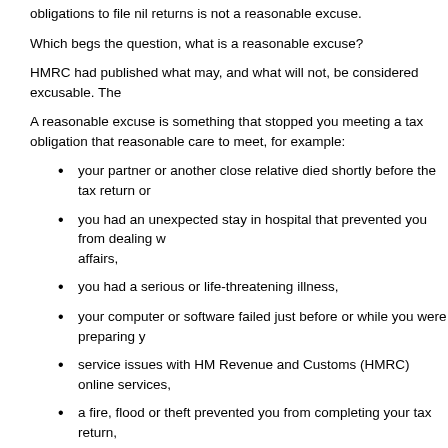obligations to file nil returns is not a reasonable excuse.
Which begs the question, what is a reasonable excuse?
HMRC had published what may, and what will not, be considered excusable. The
A reasonable excuse is something that stopped you meeting a tax obligation that reasonable care to meet, for example:
your partner or another close relative died shortly before the tax return or
you had an unexpected stay in hospital that prevented you from dealing with affairs,
you had a serious or life-threatening illness,
your computer or software failed just before or while you were preparing y
service issues with HM Revenue and Customs (HMRC) online services,
a fire, flood or theft prevented you from completing your tax return,
postal delays that you couldn't have predicted,
delays related to a disability you have.
You must send your return or payment as soon as possible after your reasonable resolved.